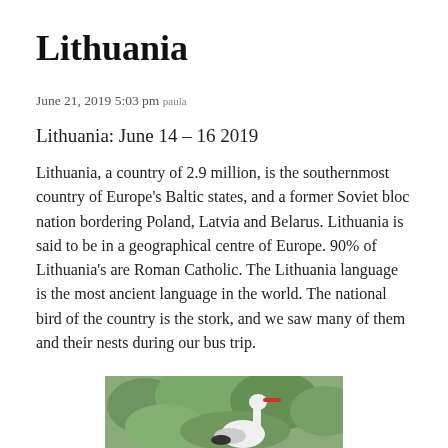Lithuania
June 21, 2019 5:03 pm paula
Lithuania: June 14 – 16 2019
Lithuania, a country of 2.9 million, is the southernmost country of Europe's Baltic states, and a former Soviet bloc nation bordering Poland, Latvia and Belarus. Lithuania is said to be in a geographical centre of Europe. 90% of Lithuania's are Roman Catholic. The Lithuania language is the most ancient language in the world. The national bird of the country is the stork, and we saw many of them and their nests during our bus trip.
[Figure (photo): Partial photo of a stork bird against green foliage background, cropped at bottom of page]